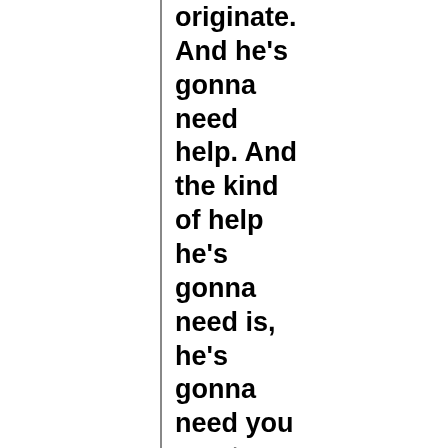originate. And he's gonna need help. And the kind of help he's gonna need is, he's gonna need you – not financially to help him – we're